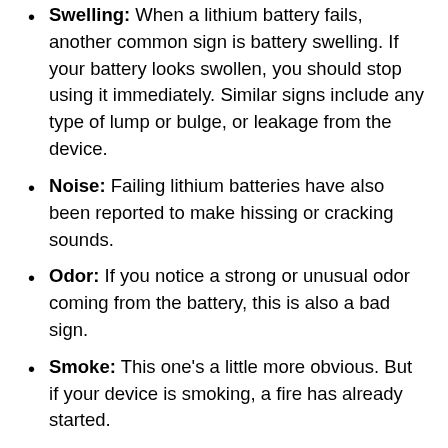Swelling: When a lithium battery fails, another common sign is battery swelling. If your battery looks swollen, you should stop using it immediately. Similar signs include any type of lump or bulge, or leakage from the device.
Noise: Failing lithium batteries have also been reported to make hissing or cracking sounds.
Odor: If you notice a strong or unusual odor coming from the battery, this is also a bad sign.
Smoke: This one's a little more obvious. But if your device is smoking, a fire has already started.
What do I do if my lithium battery is failing?